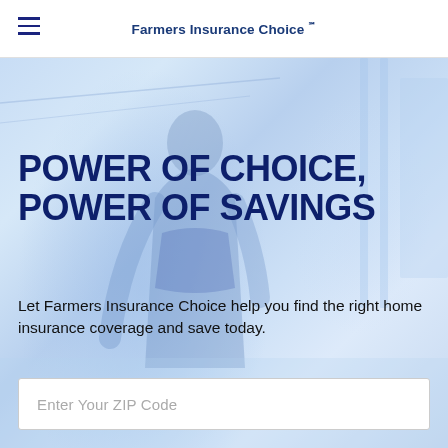Farmers Insurance Choice ℠
[Figure (photo): Background hero image showing a person (child or young adult) viewed from behind, outdoors near a building, with a light blue washed/faded tone overlay.]
POWER OF CHOICE, POWER OF SAVINGS
Let Farmers Insurance Choice help you find the right home insurance coverage and save today.
Enter Your ZIP Code